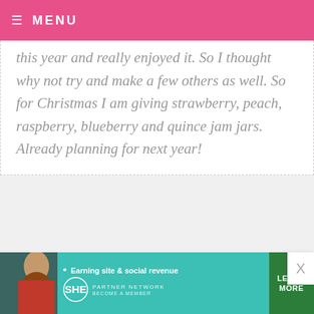MENU
this year and really enjoyed it. So I thought why not try and make a few others as well. So for Christmas I am giving strawberry, peach, raspberry, blueberry and quince jam jars. Already planning for next year!
KIM MILLER — DECEMBER 10, 2012 @ 12:30 AM
I crocheted a pair of baby booties for a friends' newborn baby girl....
[Figure (infographic): SHE Partner Network advertisement banner — Earning site & social revenue, Learn More button]